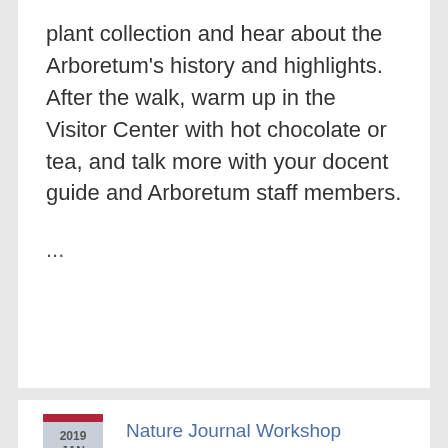plant collection and hear about the Arboretum's history and highlights. After the walk, warm up in the Visitor Center with hot chocolate or tea, and talk more with your docent guide and Arboretum staff members.
...
[Figure (other): Calendar badge icon showing 2019 JAN 12 in a shield/badge shape with a red bar at the top]
Nature Journal Workshop
1:00pm to 2:30pm
Location: Hunnewell Building, Arnold